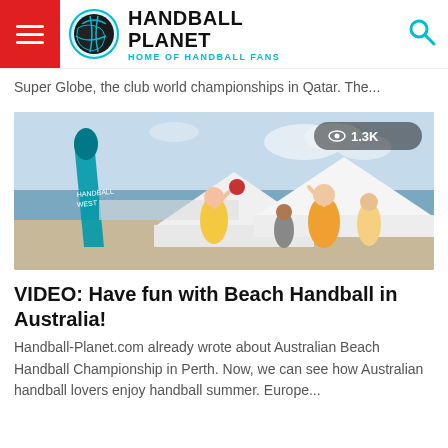HANDBALL PLANET — HOME OF HANDBALL FANS
Super Globe, the club world championships in Qatar. The...
[Figure (photo): Beach handball match in Australia with players jumping and a ball mid-air, event banners visible, view count 1.3K overlay in top-right corner]
VIDEO: Have fun with Beach Handball in Australia!
Handball-Planet.com already wrote about Australian Beach Handball Championship in Perth. Now, we can see how Australian handball lovers enjoy handball summer. Europe...